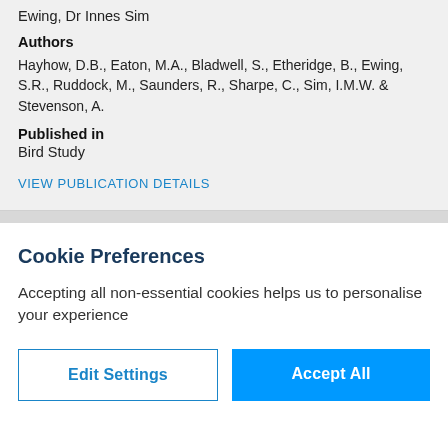Ewing, Dr Innes Sim
Authors
Hayhow, D.B., Eaton, M.A., Bladwell, S., Etheridge, B., Ewing, S.R., Ruddock, M., Saunders, R., Sharpe, C., Sim, I.M.W. & Stevenson, A.
Published in
Bird Study
VIEW PUBLICATION DETAILS
Cookie Preferences
Accepting all non-essential cookies helps us to personalise your experience
Edit Settings
Accept All